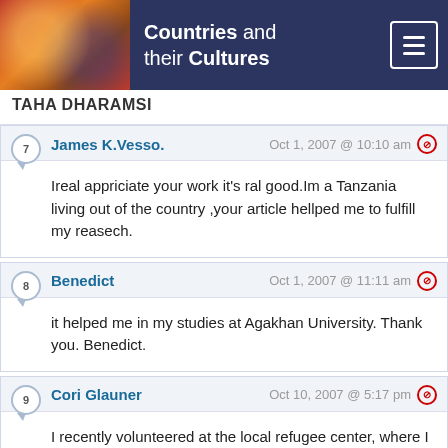Countries and their Cultures
TAHA DHARAMSI
James K.Vesso. — Oct 1, 2007 @ 10:10 am — Ireal appriciate your work it's ral good.Im a Tanzania living out of the country ,your article hellped me to fulfill my reasech.
Benedict — Oct 1, 2007 @ 11:11 am — it helped me in my studies at Agakhan University. Thank you. Benedict.
Cori Glauner — Oct 10, 2007 @ 5:17 pm — I recently volunteered at the local refugee center, where I am tutoring a woman from Tanzania. This website has been very helpful to me! Thank you

Cori
Twin Falls Idaho USA